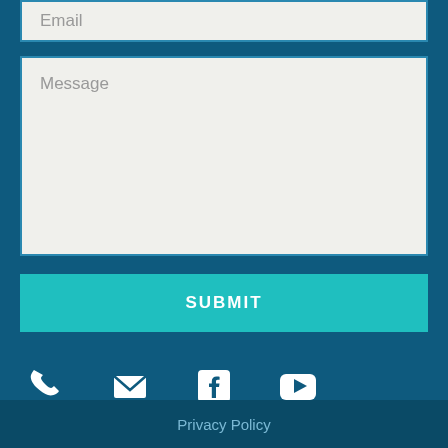Email
Message
SUBMIT
[Figure (infographic): Four social media/contact icons: phone, email (envelope), Facebook, YouTube]
Privacy Policy